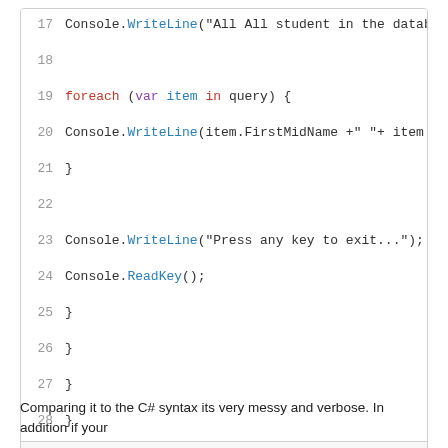[Figure (screenshot): GitHub Gist code block showing C# code lines 17–28 with syntax highlighting, followed by a footer 'sample.cs hosted with ♥ by GitHub  view raw']
Comparing it to the C# syntax its very messy and verbose. In addition if your